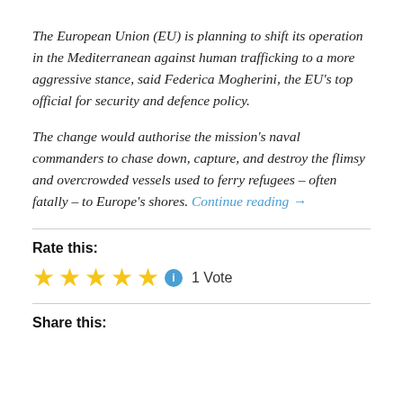The European Union (EU) is planning to shift its operation in the Mediterranean against human trafficking to a more aggressive stance, said Federica Mogherini, the EU's top official for security and defence policy.

The change would authorise the mission's naval commanders to chase down, capture, and destroy the flimsy and overcrowded vessels used to ferry refugees – often fatally – to Europe's shores. Continue reading →
Rate this:
[Figure (other): Five gold stars rating widget with blue info icon and '1 Vote' label]
Share this: